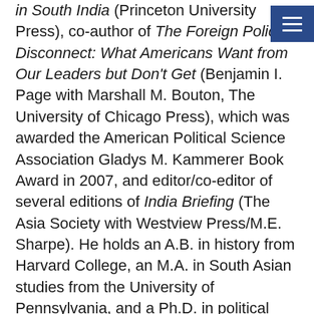in South India (Princeton University Press), co-author of The Foreign Policy Disconnect: What Americans Want from Our Leaders but Don't Get (Benjamin I. Page with Marshall M. Bouton, The University of Chicago Press), which was awarded the American Political Science Association Gladys M. Kammerer Book Award in 2007, and editor/co-editor of several editions of India Briefing (The Asia Society with Westview Press/M.E. Sharpe). He holds an A.B. in history from Harvard College, an M.A. in South Asian studies from the University of Pennsylvania, and a Ph.D. in political science from the University of Chicago. He is married and has two grown children and four